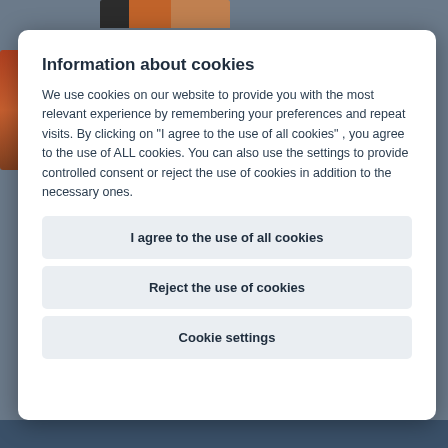[Figure (screenshot): Partial header image with dark and orange/brown tones visible at top of modal]
Information about cookies
We use cookies on our website to provide you with the most relevant experience by remembering your preferences and repeat visits. By clicking on "I agree to the use of all cookies" , you agree to the use of ALL cookies. You can also use the settings to provide controlled consent or reject the use of cookies in addition to the necessary ones.
I agree to the use of all cookies
Reject the use of cookies
Cookie settings